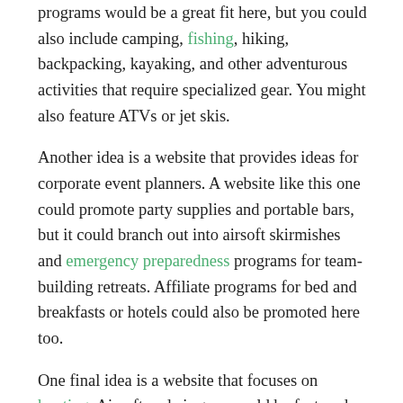programs would be a great fit here, but you could also include camping, fishing, hiking, backpacking, kayaking, and other adventurous activities that require specialized gear. You might also feature ATVs or jet skis.
Another idea is a website that provides ideas for corporate event planners. A website like this one could promote party supplies and portable bars, but it could branch out into airsoft skirmishes and emergency preparedness programs for team-building retreats. Affiliate programs for bed and breakfasts or hotels could also be promoted here too.
One final idea is a website that focuses on hunting. Airsoft and air guns could be featured as target practice situations and ways to build stealth. Guns, ammo, archery equipment, targets, camo gear, and